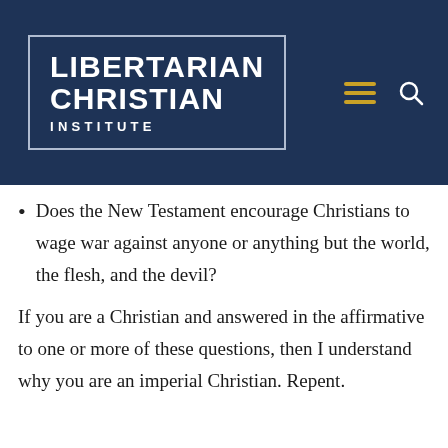[Figure (logo): Libertarian Christian Institute logo — white text on dark navy blue background with white border box, showing 'LIBERTARIAN CHRISTIAN INSTITUTE' in bold sans-serif, with hamburger menu icon (gold/yellow) and search icon (white) on the right.]
Does the New Testament encourage Christians to wage war against anyone or anything but the world, the flesh, and the devil?
If you are a Christian and answered in the affirmative to one or more of these questions, then I understand why you are an imperial Christian. Repent.